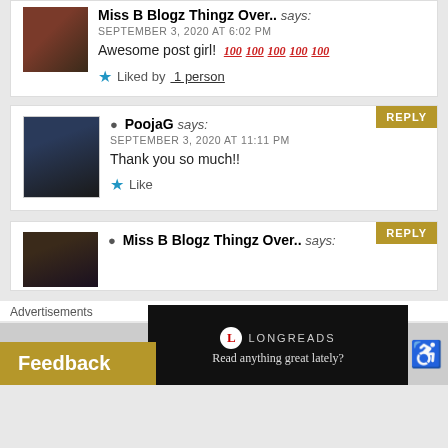Miss B Blogz Thingz Over.. says: SEPTEMBER 3, 2020 AT 6:02 PM Awesome post girl! 💯💯💯💯💯 ★ Liked by 1 person
PoojaG says: SEPTEMBER 3, 2020 AT 11:11 PM Thank you so much!! ★ Like
Miss B Blogz Thingz Over.. says:
Advertisements
Feedback
LONGREADS Read anything great lately?